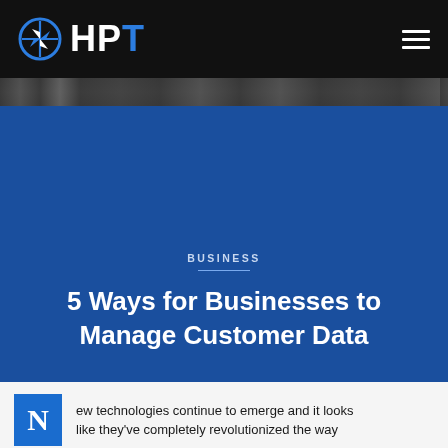HPT
[Figure (screenshot): Website header with HPT logo (compass icon in blue circle) on black navigation bar with hamburger menu icon on the right]
[Figure (photo): Dark photo strip showing interior structural elements]
BUSINESS
5 Ways for Businesses to Manage Customer Data
ew technologies continue to emerge and it looks like they've completely revolutionized the way